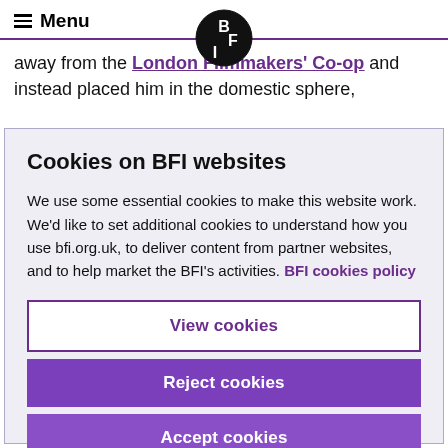Menu — BFI logo
away from the London Filmmakers' Co-op and instead placed him in the domestic sphere,
Cookies on BFI websites
We use some essential cookies to make this website work. We'd like to set additional cookies to understand how you use bfi.org.uk, to deliver content from partner websites, and to help market the BFI's activities. BFI cookies policy
View cookies
Reject cookies
Accept cookies